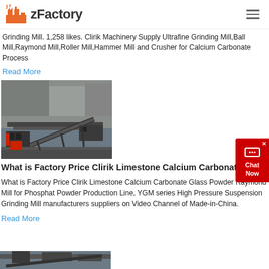zFactory
Grinding Mill. 1,258 likes. Clirik Machinery Supply Ultrafine Grinding Mill,Ball Mill,Raymond Mill,Roller Mill,Hammer Mill and Crusher for Calcium Carbonate Process
Read More
[Figure (photo): Industrial limestone/calcium carbonate crushing plant machinery at a quarry site, with conveyor belts and processing equipment.]
What is Factory Price Clirik Limestone Calcium Carbonate ...
What is Factory Price Clirik Limestone Calcium Carbonate Glass Powder Raymond Mill for Phosphat Powder Production Line, YGM series High Pressure Suspension Grinding Mill manufacturers suppliers on Video Channel of Made-in-China.
Read More
[Figure (photo): Industrial quarry/crushing plant machinery, partially visible at the bottom of the page.]